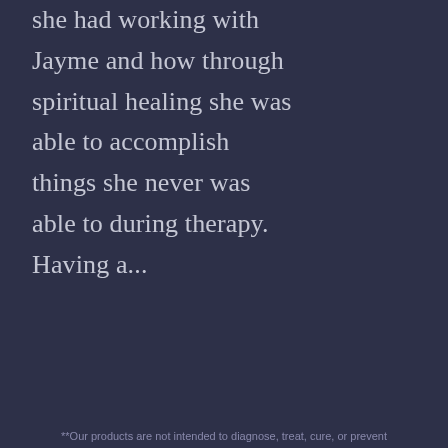she had working with Jayme and how through spiritual healing she was able to accomplish things she never was able to during therapy. Having a...
[Figure (logo): Spirit Kin logo: circular emblem with a glowing blue orb above a pink lotus flower, surrounded by decorative purple foliage, with 'Spirit Kin' text arcing over the top]
Jeremiah S.
**Our products are not intended to diagnose, treat, cure, or prevent